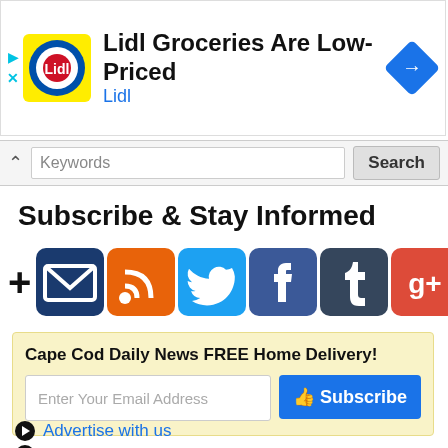[Figure (screenshot): Lidl advertisement banner with Lidl logo, text 'Lidl Groceries Are Low-Priced', brand name 'Lidl', and a blue diamond navigation arrow icon]
Keywords  Search
Subscribe & Stay Informed
[Figure (infographic): Social media subscription icons row: plus sign, email envelope (navy), RSS feed (orange), Twitter bird (blue), Facebook f (dark blue), Tumblr t (dark slate), Google+ g+ (red)]
Cape Cod Daily News FREE Home Delivery!
Enter Your Email Address  Subscribe
Advertise with us
Support this website